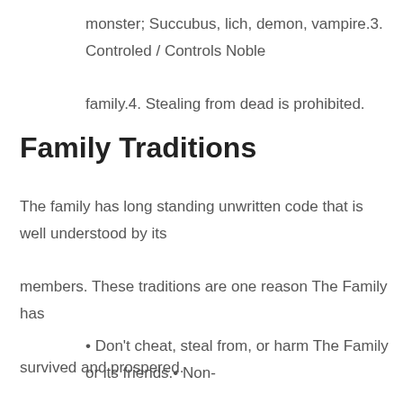monster; Succubus, lich, demon, vampire.3. Controled / Controls Noble family.4. Stealing from dead is prohibited.
Family Traditions
The family has long standing unwritten code that is well understood by its members. These traditions are one reason The Family has survived and prospered.
• Don't cheat, steal from, or harm The Family or its friends.• Non-family operators must be reported and unsanctioned Jobs disrupted.• Jobs must be approved by Brother / Sister.• The Haul from a Job must be sold through Family.• During a job, murder, maiming, and property damage are to be avoided.• The Family